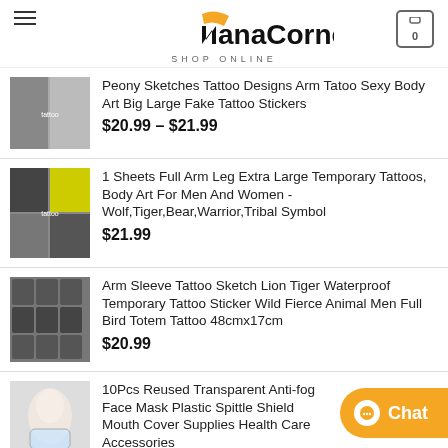NanaCorner SHOP ONLINE
Peony Sketches Tattoo Designs Arm Tatoo Sexy Body Art Big Large Fake Tattoo Stickers $20.99 – $21.99
1 Sheets Full Arm Leg Extra Large Temporary Tattoos, Body Art For Men And Women - Wolf,Tiger,Bear,Warrior,Tribal Symbol $21.99
Arm Sleeve Tattoo Sketch Lion Tiger Waterproof Temporary Tattoo Sticker Wild Fierce Animal Men Full Bird Totem Tattoo 48cmx17cm $20.99
10Pcs Reused Transparent Anti-fog Face Mask Plastic Spittle Shield Mouth Cover Supplies Health Care Accessories